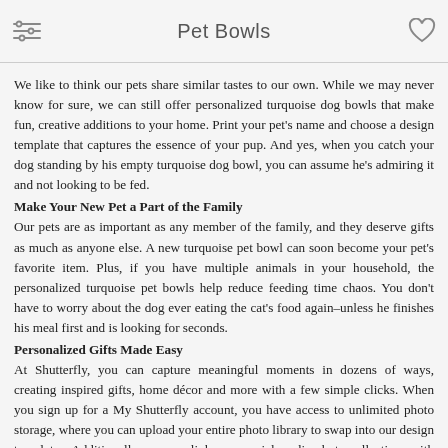Pet Bowls
We like to think our pets share similar tastes to our own. While we may never know for sure, we can still offer personalized turquoise dog bowls that make fun, creative additions to your home. Print your pet's name and choose a design template that captures the essence of your pup. And yes, when you catch your dog standing by his empty turquoise dog bowl, you can assume he's admiring it and not looking to be fed.
Make Your New Pet a Part of the Family
Our pets are as important as any member of the family, and they deserve gifts as much as anyone else. A new turquoise pet bowl can soon become your pet's favorite item. Plus, if you have multiple animals in your household, the personalized turquoise pet bowls help reduce feeding time chaos. You don't have to worry about the dog ever eating the cat's food again–unless he finishes his meal first and is looking for seconds.
Personalized Gifts Made Easy
At Shutterfly, you can capture meaningful moments in dozens of ways, creating inspired gifts, home décor and more with a few simple clicks. When you sign up for a My Shutterfly account, you have access to unlimited photo storage, where you can upload your entire photo library to swap into our design templates. Additionally, you can link your social media photo collections with your Shutterfly project without the need for uploading. From personalized dog bowls to throw pillows, discover how easy it is to create fun, unique items adorned with some of your fondest memories.
Creativity Unleashed
With nearly all of our personalized products, you have the option to